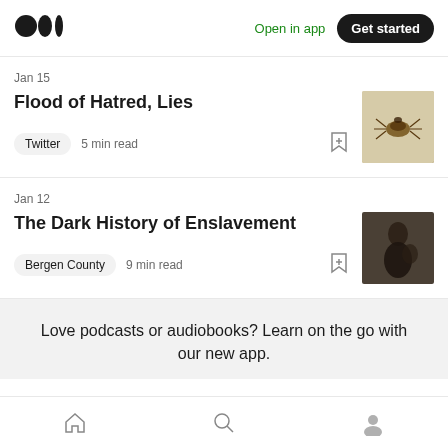Medium logo | Open in app | Get started
Jan 15
Flood of Hatred, Lies
Twitter  5 min read
Jan 12
The Dark History of Enslavement
Bergen County  9 min read
Love podcasts or audiobooks? Learn on the go with our new app.
Home | Search | Profile